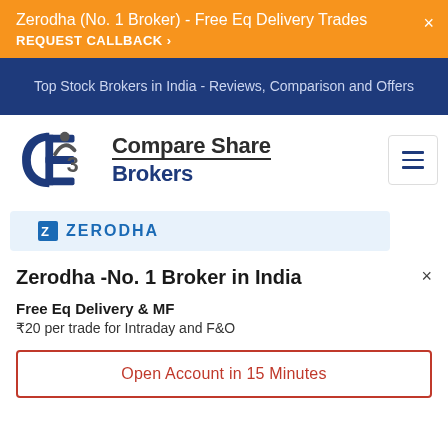Zerodha (No. 1 Broker) - Free Eq Delivery Trades
REQUEST CALLBACK ›
Top Stock Brokers in India - Reviews, Comparison and Offers
[Figure (logo): Compare Share Brokers logo with CSB monogram in blue, hamburger menu icon]
[Figure (logo): Zerodha logo with blue icon and bold text ZERODHA in blue]
Zerodha -No. 1 Broker in India
Free Eq Delivery & MF
₹20 per trade for Intraday and F&O
Open Account in 15 Minutes